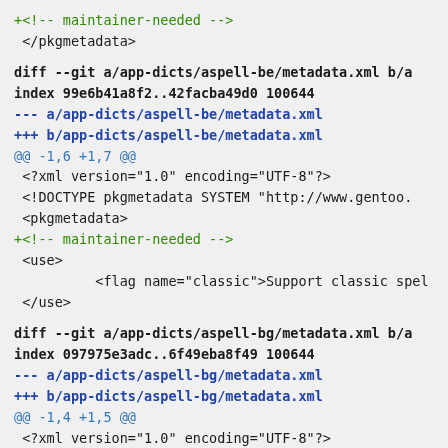+<!-- maintainer-needed -->
</pkgmetadata>
diff --git a/app-dicts/aspell-be/metadata.xml b/a
index 99e6b41a8f2..42facba49d0 100644
--- a/app-dicts/aspell-be/metadata.xml
+++ b/app-dicts/aspell-be/metadata.xml
@@ -1,6 +1,7 @@
<?xml version="1.0" encoding="UTF-8"?>
<!DOCTYPE pkgmetadata SYSTEM "http://www.gentoo.
<pkgmetadata>
+<!-- maintainer-needed -->
<use>
<flag name="classic">Support classic spel
</use>
diff --git a/app-dicts/aspell-bg/metadata.xml b/a
index 097975e3adc..6f49eba8f49 100644
--- a/app-dicts/aspell-bg/metadata.xml
+++ b/app-dicts/aspell-bg/metadata.xml
@@ -1,4 +1,5 @@
<?xml version="1.0" encoding="UTF-8"?>